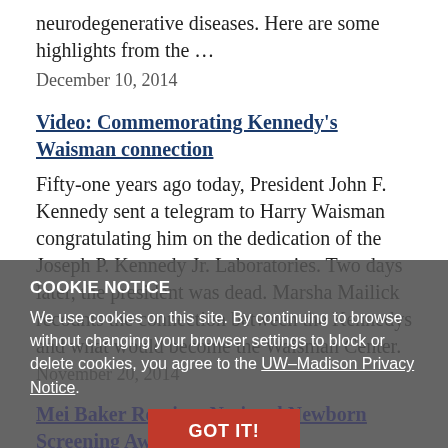neurodegenerative diseases. Here are some highlights from the …
December 10, 2014
Video: Commemorating Kennedy's Waisman connection
Fifty-one years ago today, President John F. Kennedy sent a telegram to Harry Waisman congratulating him on the dedication of the Joseph P. Kennedy Jr. Laboratories. Two days later, the president was dead. Marsha Mailick recounts the connection between the Kennedys and what would become the Waisman Center.
November 20, 2014
COOKIE NOTICE
We use cookies on this site. By continuing to browse without changing your browser settings to block or delete cookies, you agree to the UW–Madison Privacy Notice.
GOT IT!
Mei Baker Receives National Newborn Screening Award
Mei Baker, MD, Wisconsin State Laboratory of